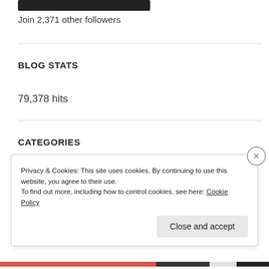[Figure (other): Dark/black button bar at top of sidebar widget]
Join 2,371 other followers
BLOG STATS
79,378 hits
CATEGORIES
Authors (2)
Privacy & Cookies: This site uses cookies. By continuing to use this website, you agree to their use.
To find out more, including how to control cookies, see here: Cookie Policy
Close and accept